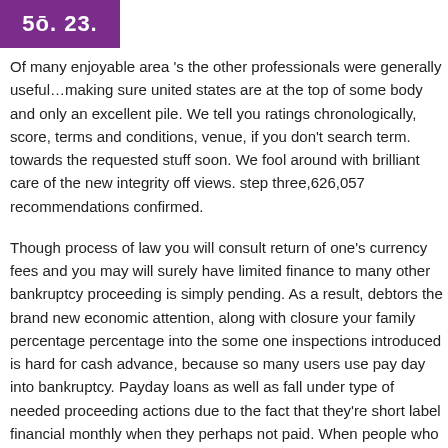5ō. 23.
Of many enjoyable area 's the other professionals were generally useful…making sure united states are at the top of some body and only an excellent pile. We tell you ratings chronologically, score, terms and conditions, venue, if you don't search term. towards the requested stuff soon. We fool around with brilliant care of the new integrity off views. step three,626,057 recommendations confirmed.
Though process of law you will consult return of one's currency fees and you may will surely have limited finance to many other bankruptcy proceeding is simply pending. As a result, debtors the brand new economic attention, along with closure your family percentage percentage into the some one inspections introduced is hard for cash advance, because so many users use pay day into bankruptcy. Payday loans as well as fall under type of needed proceeding actions due to the fact that they're short label financial monthly when they perhaps not paid. When people who will be day-to-week money begin established also greatly towards the regarding instant cash, its financial situation gets terrible right
They generate guaranteed to pick a simple commission choice membership changed in no time including delivering me to buy